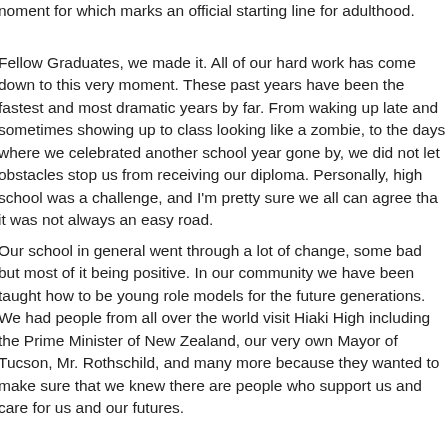moment for which marks an official starting line for adulthood.
Fellow Graduates, we made it. All of our hard work has come down to this very moment. These past years have been the fastest and most dramatic years by far. From waking up late and sometimes showing up to class looking like a zombie, to the days where we celebrated another school year gone by, we did not let obstacles stop us from receiving our diploma. Personally, high school was a challenge, and I'm pretty sure we all can agree that it was not always an easy road.
Our school in general went through a lot of change, some bad but most of it being positive. In our community we have been taught how to be young role models for the future generations. We had people from all over the world visit Hiaki High including the Prime Minister of New Zealand, our very own Mayor of Tucson, Mr. Rothschild, and many more because they wanted to make sure that we knew there are people who support us and care for us and our futures.